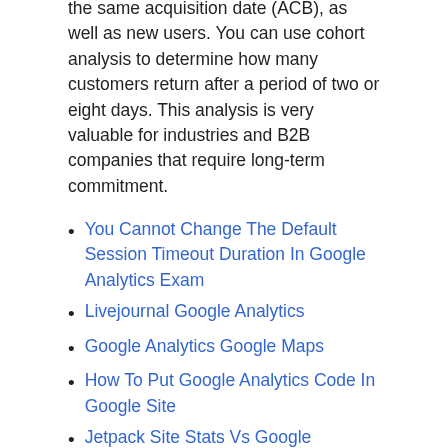the same acquisition date (ACB), as well as new users. You can use cohort analysis to determine how many customers return after a period of two or eight days. This analysis is very valuable for industries and B2B companies that require long-term commitment.
You Cannot Change The Default Session Timeout Duration In Google Analytics Exam
Livejournal Google Analytics
Google Analytics Google Maps
How To Put Google Analytics Code In Google Site
Jetpack Site Stats Vs Google Analytics
How To Read Google Analytics To Fix Marketing
How To Link Google Analytics With WordPress Site